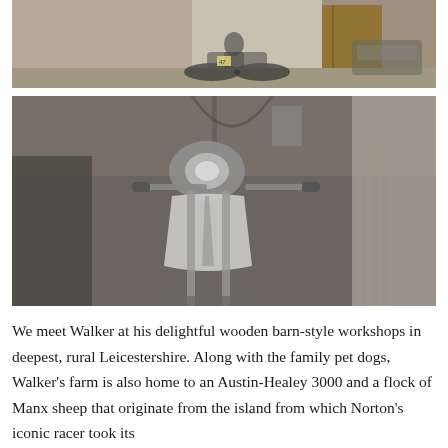[Figure (photo): Black and white photo of a person sitting on a vintage racing motorcycle (with number 47) in a courtyard outside a brick building with wooden doors, a Land Rover visible in the background.]
[Figure (photo): Black and white close-up photo of the front end of a vintage motorcycle from behind/above, showing handlebars, headlight fairing, and fuel tank. A person in a checked shirt stands to the right.]
We meet Walker at his delightful wooden barn-style workshops in deepest, rural Leicestershire. Along with the family pet dogs, Walker's farm is also home to an Austin-Healey 3000 and a flock of Manx sheep that originate from the island from which Norton's iconic racer took its name, the Isle of Man. You can's find…